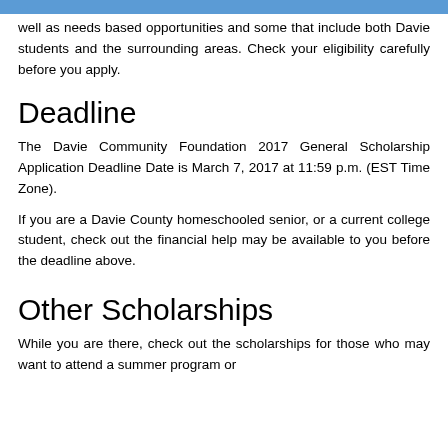well as needs based opportunities and some that include both Davie students and the surrounding areas. Check your eligibility carefully before you apply.
Deadline
The Davie Community Foundation 2017 General Scholarship Application Deadline Date is March 7, 2017 at 11:59 p.m. (EST Time Zone).
If you are a Davie County homeschooled senior, or a current college student, check out the financial help may be available to you before the deadline above.
Other Scholarships
While you are there, check out the scholarships for those who may want to attend a summer program or